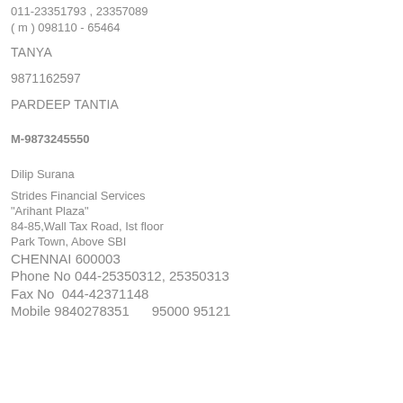011-23351793 , 23357089
( m ) 098110 - 65464
TANYA
9871162597
PARDEEP TANTIA
M-9873245550
Dilip Surana
Strides Financial Services
"Arihant Plaza"
84-85,Wall Tax Road, Ist floor
Park Town, Above SBI
CHENNAI 600003
Phone No 044-25350312, 25350313
Fax No  044-42371148
Mobile 9840278351      95000 95121